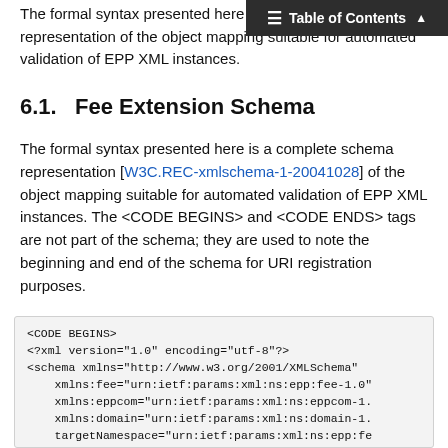The formal syntax presented here is a complete schema representation of the object mapping suitable for automated validation of EPP XML instances.
6.1.  Fee Extension Schema
The formal syntax presented here is a complete schema representation [W3C.REC-xmlschema-1-20041028] of the object mapping suitable for automated validation of EPP XML instances. The <CODE BEGINS> and <CODE ENDS> tags are not part of the schema; they are used to note the beginning and end of the schema for URI registration purposes.
<CODE BEGINS>
<?xml version="1.0" encoding="utf-8"?>
<schema xmlns="http://www.w3.org/2001/XMLSchema"
    xmlns:fee="urn:ietf:params:xml:ns:epp:fee-1.0"
    xmlns:eppcom="urn:ietf:params:xml:ns:eppcom-1.0"
    xmlns:domain="urn:ietf:params:xml:ns:domain-1.0"
    targetNamespace="urn:ietf:params:xml:ns:epp:fee"
    elementFormDefault="qualified">

  <import namespace="urn:ietf:params:xml:ns:eppco
  <import namespace="urn:ietf:params:xml:ns:do